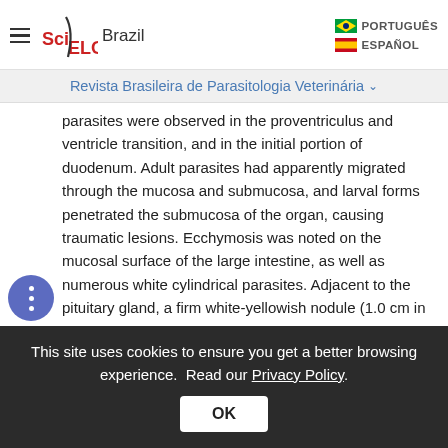SciELO Brazil — PORTUGUÊS / ESPAÑOL
Revista Brasileira de Parasitologia Veterinária
parasites were observed in the proventriculus and ventricle transition, and in the initial portion of duodenum. Adult parasites had apparently migrated through the mucosa and submucosa, and larval forms penetrated the submucosa of the organ, causing traumatic lesions. Ecchymosis was noted on the mucosal surface of the large intestine, as well as numerous white cylindrical parasites. Adjacent to the pituitary gland, a firm white-yellowish nodule (1.0 cm in diameter) was observed in Greater 1.
This site uses cookies to ensure you get a better browsing experience. Read our Privacy Policy.